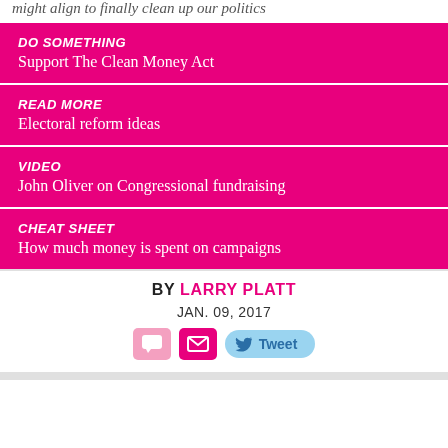might align to finally clean up our politics
DO SOMETHING
Support The Clean Money Act
READ MORE
Electoral reform ideas
VIDEO
John Oliver on Congressional fundraising
CHEAT SHEET
How much money is spent on campaigns
BY LARRY PLATT
JAN. 09, 2017